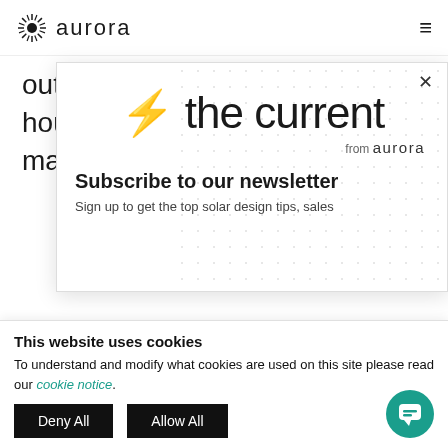aurora (logo with sunburst icon) | hamburger menu
outflow are measured in netted hour intervals; in the future, they may be
[Figure (screenshot): Newsletter subscription modal popup with lightning bolt icon followed by 'the current' in large text, 'from aurora' subtitle, dotted background pattern, close X button, heading 'Subscribe to our newsletter', subtext 'Sign up to get the top solar design tips, sales']
This website uses cookies
To understand and modify what cookies are used on this site please read our cookie notice.
Deny All
Allow All